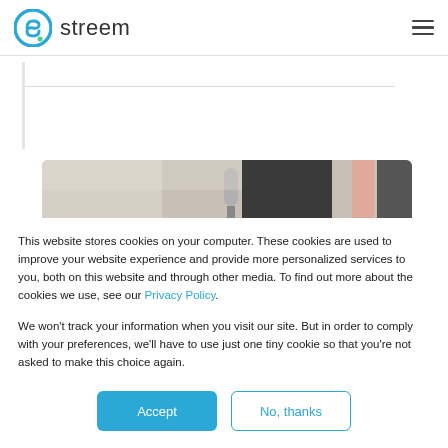[Figure (logo): Streem logo: circular S icon in blue/cyan gradient, followed by the word 'streem' in dark gray sans-serif]
[Figure (photo): Partial photo showing a studio or office scene with a microphone in black and white tones, with salmon/orange vertical stripe on the right]
This website stores cookies on your computer. These cookies are used to improve your website experience and provide more personalized services to you, both on this website and through other media. To find out more about the cookies we use, see our Privacy Policy.
We won't track your information when you visit our site. But in order to comply with your preferences, we'll have to use just one tiny cookie so that you're not asked to make this choice again.